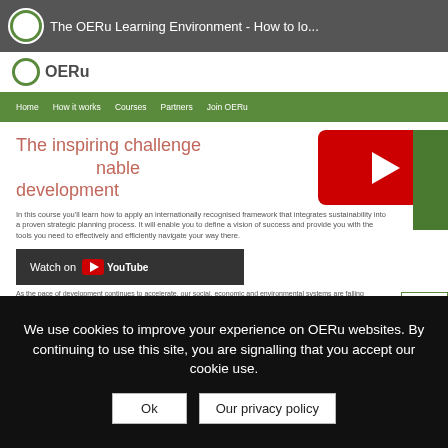[Figure (screenshot): Screenshot of OERu website showing the OERu learning environment page with green navigation bar, a pink heading about sustainable development, body text, a YouTube play button overlay, a 'Watch on YouTube' bar, and a green thumbnail image on the right.]
The inspiring challenge ... nable development
In this course you'll learn how to apply an internationally recognised framework that integrates sustainability into a proven strategic planning process. It will enable you to define a vision of success and provide you with the tools you need to effectively and efficiently navigate your way there.
As the pace of development continues to accelerate, our social, economic and environmental systems are falling further and further out of balance. Using a robust, yet
We use cookies to improve your experience on OERu websites. By continuing to use this site, you are signalling that you accept our cookie use.